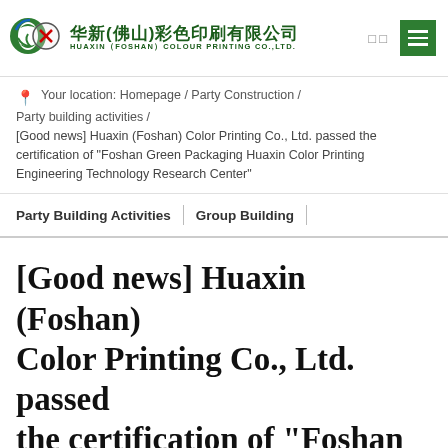[Figure (logo): Huaxin (Foshan) Colour Printing Co., Ltd. logo with Chinese characters and English text]
华新(佛山)彩色印刷有限公司 HUAXIN (FOSHAN) COLOUR PRINTING CO.,LTD.
Your location: Homepage / Party Construction / Party building activities / [Good news] Huaxin (Foshan) Color Printing Co., Ltd. passed the certification of "Foshan Green Packaging Huaxin Color Printing Engineering Technology Research Center"
Party Building Activities | Group Building |
[Good news] Huaxin (Foshan) Color Printing Co., Ltd. passed the certification of "Foshan